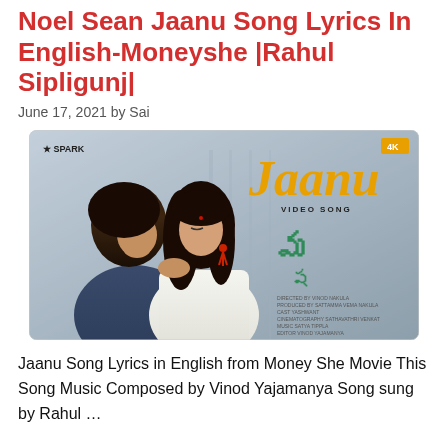Noel Sean Jaanu Song Lyrics In English-Moneyshe |Rahul Sipligunj|
June 17, 2021 by Sai
[Figure (photo): Thumbnail image for 'Jaanu' video song from Money She movie. Shows a couple in close romantic pose with the Spark channel logo, 4K badge, 'Jaanu' text in gold italic, 'VIDEO SONG' subtitle, Telugu movie logo in green, and small credits text at bottom right.]
Jaanu Song Lyrics in English from Money She Movie This Song Music Composed by Vinod Yajamanya Song sung by Rahul …